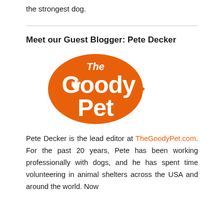the strongest dog.
Meet our Guest Blogger: Pete Decker
[Figure (logo): The Goody Pet logo in orange — bold stylized text reading 'The Goody Pet' with a paw print inside the letter G]
Pete Decker is the lead editor at TheGoodyPet.com. For the past 20 years, Pete has been working professionally with dogs, and he has spent time volunteering in animal shelters across the USA and around the world. Now